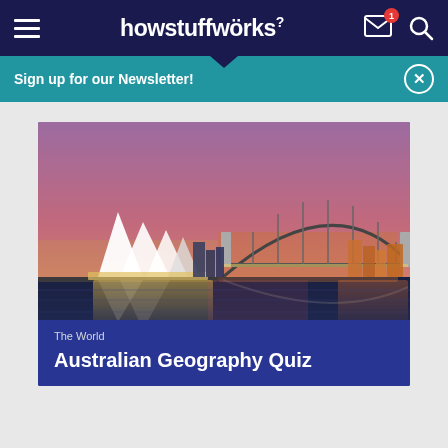howstuffworks
Sign up for our Newsletter!
[Figure (photo): Nighttime panoramic view of the Sydney Opera House and Sydney Harbour Bridge reflected in calm water, with city lights illuminating the scene in warm orange and purple tones.]
The World
Australian Geography Quiz